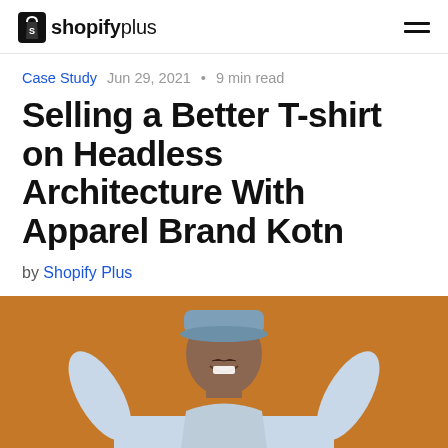shopifyplus
Case Study  Jun 29, 2021 • 9 min read
Selling a Better T-shirt on Headless Architecture With Apparel Brand Kotn
by Shopify Plus
[Figure (photo): Person wearing a light blue long-sleeve shirt and blue cap, smiling with arms raised, against a warm orange/brown background]